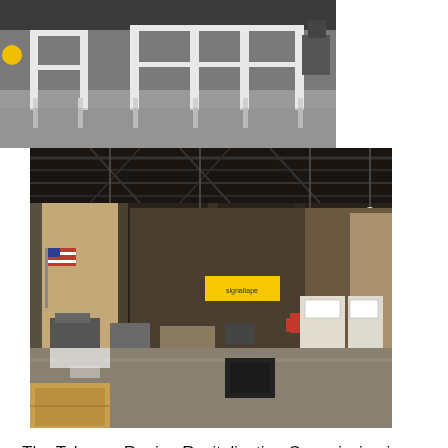[Figure (photo): Industrial/warehouse space showing white metal frame equipment or shelving in a facility with concrete floor]
[Figure (photo): Interior of a large industrial warehouse with dark steel roof structure, hanging lights, an American flag, stacked equipment and machinery including white control panels, and a yellow Signaltape sign in the background]
The Tobacco Region Revitalization Commission is committed to bringing jobs and investment to Southern and Southwest Virginia. Projects like Signaltape that offer a compelling product designed and manufactured in our region are a perfect example of our commitment to